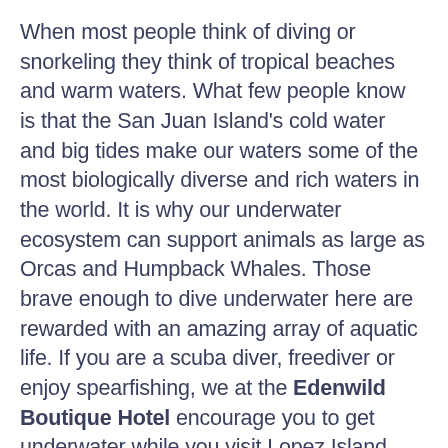When most people think of diving or snorkeling they think of tropical beaches and warm waters. What few people know is that the San Juan Island's cold water and big tides make our waters some of the most biologically diverse and rich waters in the world. It is why our underwater ecosystem can support animals as large as Orcas and Humpback Whales. Those brave enough to dive underwater here are rewarded with an amazing array of aquatic life. If you are a scuba diver, freediver or enjoy spearfishing, we at the Edenwild Boutique Hotel encourage you to get underwater while you visit Lopez Island. There are plenty of opportunities to snorkel for those who are not avid or extreme divers. We believe that the best way to appreciate and protect our waters is to dive in. While there are no dive charters or dive shops in the islands, Lopez has a number of